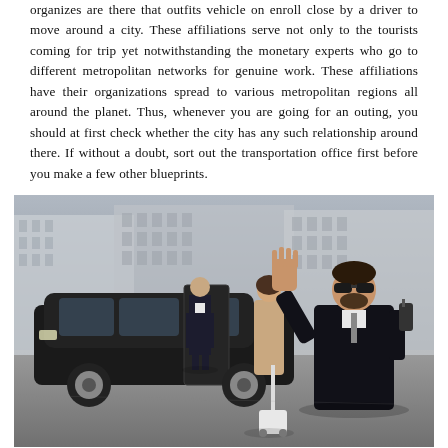organizes are there that outfits vehicle on enroll close by a driver to move around a city. These affiliations serve not only to the tourists coming for trip yet notwithstanding the monetary experts who go to different metropolitan networks for genuine work. These affiliations have their organizations spread to various metropolitan regions all around the planet. Thus, whenever you are going for an outing, you should at first check whether the city has any such relationship around there. If without a doubt, sort out the transportation office first before you make a few other blueprints.
[Figure (photo): A man in a black suit and sunglasses holds a walkie-talkie and raises his hand in a stop gesture. Behind him, a woman in a beige coat pulls luggage, and another man in a black suit stands by an open door of a large black SUV. The setting appears to be an outdoor parking area with buildings in the background.]